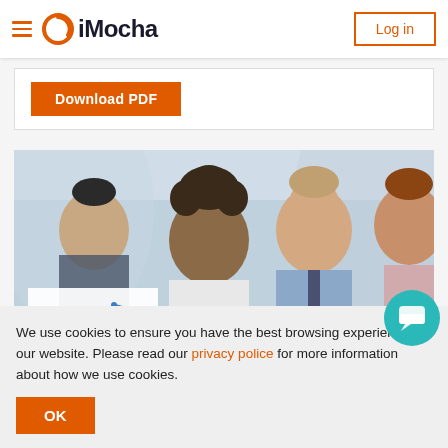iMocha — Log in
Download PDF
[Figure (photo): Group of four smiling business professionals facing the camera in an office setting]
We use cookies to ensure you have the best browsing experience on our website. Please read our privacy policy for more information about how we use cookies.
OK